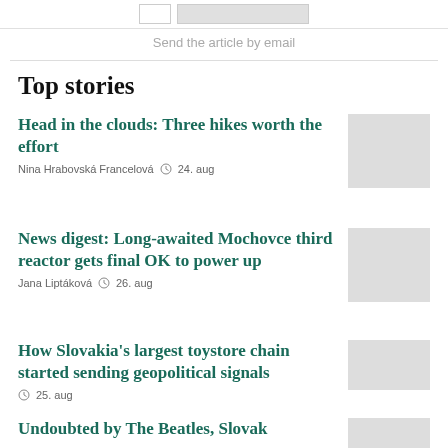Send the article by email
Top stories
Head in the clouds: Three hikes worth the effort
Nina Hrabovská Francelová  24. aug
News digest: Long-awaited Mochovce third reactor gets final OK to power up
Jana Liptáková  26. aug
How Slovakia's largest toystore chain started sending geopolitical signals
25. aug
Undoubted by The Beatles, Slovak